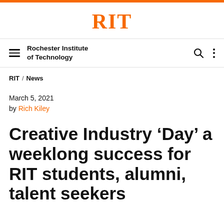RIT
Rochester Institute of Technology
RIT / News
March 5, 2021
by Rich Kiley
Creative Industry ‘Day’ a weeklong success for RIT students, alumni, talent seekers